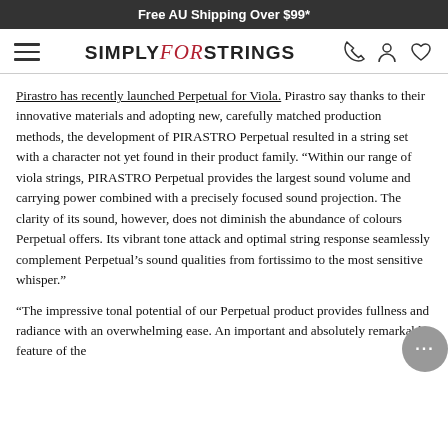Free AU Shipping Over $99*
[Figure (logo): Simply for Strings logo with hamburger menu icon and navigation icons (phone, person, heart)]
Pirastro has recently launched Perpetual for Viola. Pirastro say thanks to their innovative materials and adopting new, carefully matched production methods, the development of PIRASTRO Perpetual resulted in a string set with a character not yet found in their product family. “Within our range of viola strings, PIRASTRO Perpetual provides the largest sound volume and carrying power combined with a precisely focused sound projection. The clarity of its sound, however, does not diminish the abundance of colours Perpetual offers. Its vibrant tone attack and optimal string response seamlessly complement Perpetual’s sound qualities from fortissimo to the most sensitive whisper.”
“The impressive tonal potential of our Perpetual product provides fullness and radiance with an overwhelming ease. An important and absolutely remarkable feature of the